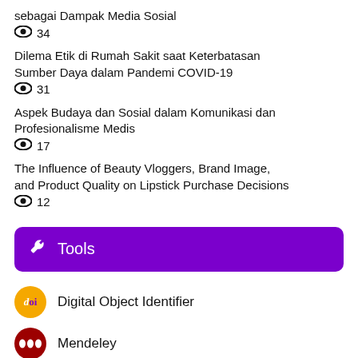sebagai Dampak Media Sosial
👁 34
Dilema Etik di Rumah Sakit saat Keterbatasan Sumber Daya dalam Pandemi COVID-19
👁 31
Aspek Budaya dan Sosial dalam Komunikasi dan Profesionalisme Medis
👁 17
The Influence of Beauty Vloggers, Brand Image, and Product Quality on Lipstick Purchase Decisions
👁 12
🔧 Tools
Digital Object Identifier
Mendeley